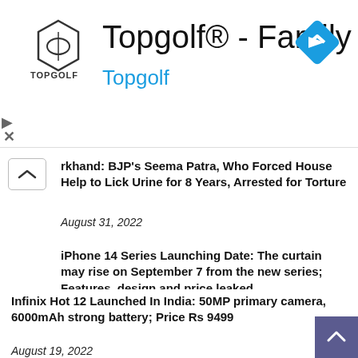[Figure (logo): Topgolf advertisement banner with logo, brand name 'Topgolf', title 'Topgolf® - Family Fun', and navigation diamond icon]
rkhand: BJP's Seema Patra, Who Forced House Help to Lick Urine for 8 Years, Arrested for Torture
August 31, 2022
iPhone 14 Series Launching Date: The curtain may rise on September 7 from the new series; Features, design and price leaked
August 19, 2022
Infinix Hot 12 Launched In India: 50MP primary camera, 6000mAh strong battery; Price Rs 9499
August 19, 2022